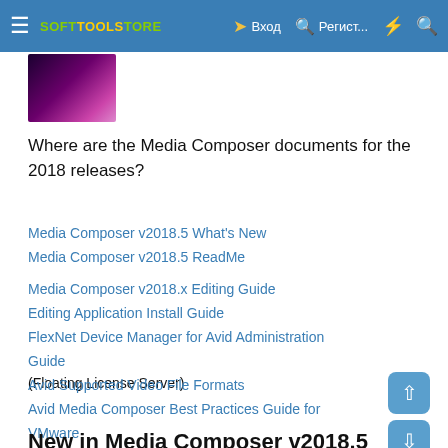≡ SOFTOOLSTORE  → Вход  🔍 Регист...  ⚡ 🔍
[Figure (photo): Product box image with purple/magenta gradient background]
Where are the Media Composer documents for the 2018 releases?
Media Composer v2018.5 What's New
Media Composer v2018.5 ReadMe
Media Composer v2018.x Editing Guide
Editing Application Install Guide
FlexNet Device Manager for Avid Administration Guide (Floating License Server)
Avid Supported Video File Formats
Avid Media Composer Best Practices Guide for VMware
New in Media Composer v2018.5
Get Info Window Update